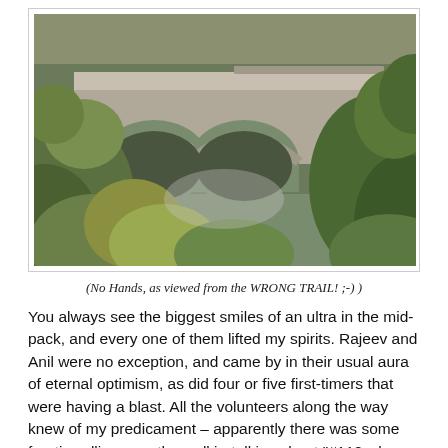[Figure (photo): A stone arch bridge viewed through surrounding trees and foliage, taken from below/side on a trail. The bridge has multiple arches and appears to be a historical structure, surrounded by lush green and autumn-colored vegetation.]
(No Hands, as viewed from the WRONG TRAIL! ;-) )
You always see the biggest smiles of an ultra in the mid-pack, and every one of them lifted my spirits. Rajeev and Anil were no exception, and came by in their usual aura of eternal optimism, as did four or five first-timers that were having a blast. All the volunteers along the way knew of my predicament – apparently there was some frantic calling over the walkie-talkies about "#110 who got off course" – and were very pleased to see I was still out running. Jon Olsen was keeping his crazy pace as I hit the Auburn Dam